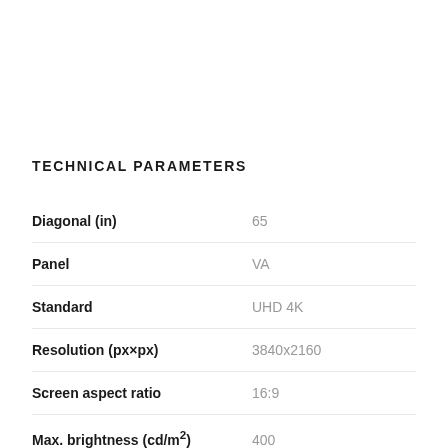TECHNICAL PARAMETERS
| Parameter | Value |
| --- | --- |
| Diagonal (in) | 65 |
| Panel | VA |
| Standard | UHD 4K |
| Resolution (px×px) | 3840x2160 |
| Screen aspect ratio | 16:9 |
| Max. brightness (cd/m²) | 400 |